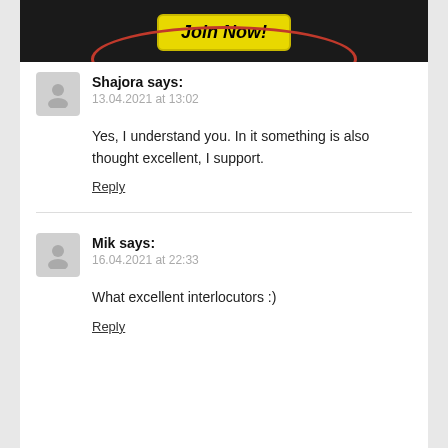[Figure (photo): Adult website banner with 'Join Now!' button on dark background with two figures in swimwear]
Shajora says:
13.04.2021 at 13:02

Yes, I understand you. In it something is also thought excellent, I support.

Reply
Mik says:
16.04.2021 at 22:33

What excellent interlocutors :)

Reply